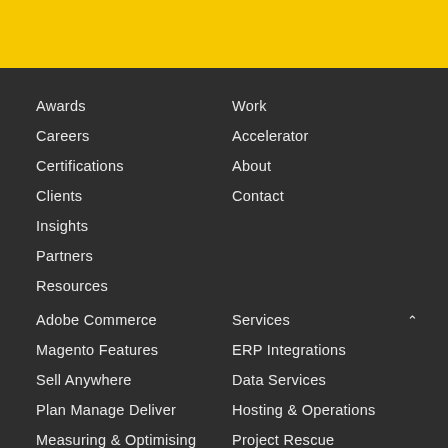Awards
Careers
Certifications
Clients
Insights
Partners
Resources
Work
Accelerator
About
Contact
Adobe Commerce
Magento Features
Sell Anywhere
Plan Manage Deliver
Measuring & Optimising
Services
ERP Integrations
Data Services
Hosting & Operations
Project Rescue